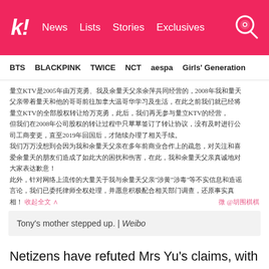koreaboo | News  Lists  Stories  Exclusives
BTS  BLACKPINK  TWICE  NCT  aespa  Girls' Generation
[Figure (screenshot): Weibo post in Chinese from Tony's mother, discussing KTV business history and legal matters. Includes a Weibo watermark.]
Tony's mother stepped up. | Weibo
Netizens have refuted Mrs Yu's claims, with allegations that there was shady dealings in the karaoke place since 2004.